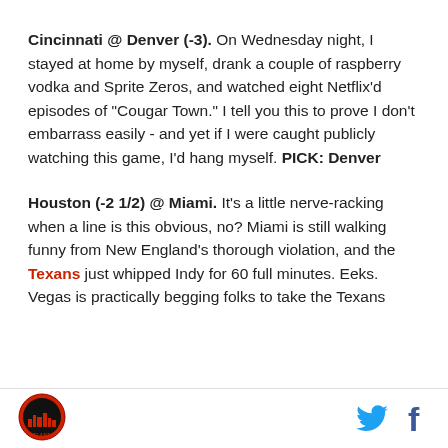Cincinnati @ Denver (-3). On Wednesday night, I stayed at home by myself, drank a couple of raspberry vodka and Sprite Zeros, and watched eight Netflix'd episodes of "Cougar Town." I tell you this to prove I don't embarrass easily - and yet if I were caught publicly watching this game, I'd hang myself. PICK: Denver
Houston (-2 1/2) @ Miami. It's a little nerve-racking when a line is this obvious, no? Miami is still walking funny from New England's thorough violation, and the Texans just whipped Indy for 60 full minutes. Eeks. Vegas is practically begging folks to take the Texans
[Figure (logo): Atlanta logo - circular red and black emblem with city skyline silhouette and text ATLANTA]
[Figure (logo): Twitter bird icon in blue and Facebook f icon in dark blue]